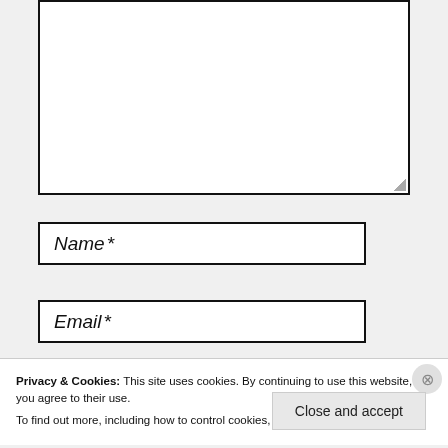[Figure (screenshot): Empty textarea input field with resize handle in bottom-right corner]
Name*
Email*
Privacy & Cookies: This site uses cookies. By continuing to use this website, you agree to their use.
To find out more, including how to control cookies, see here: Cookie Policy
Close and accept